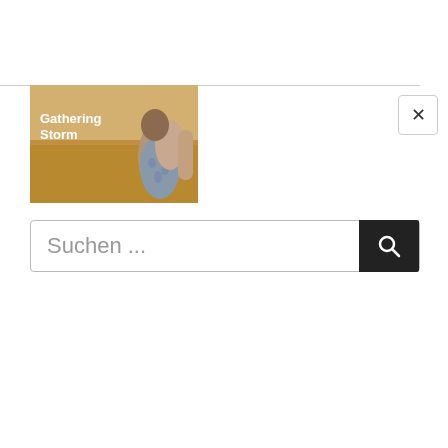[Figure (photo): Book cover thumbnail showing a woman in a floral dress in a wheat field with text 'Gathering Storm' in white]
×
Suchen ...